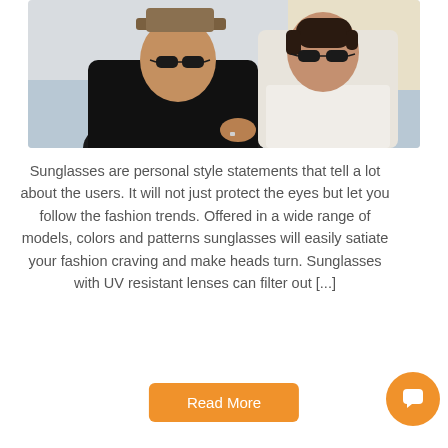[Figure (photo): Two people wearing sunglasses outdoors near water. A man in a black t-shirt and hat on the left, a woman in a white sleeveless shirt on the right.]
Sunglasses are personal style statements that tell a lot about the users. It will not just protect the eyes but let you follow the fashion trends. Offered in a wide range of models, colors and patterns sunglasses will easily satiate your fashion craving and make heads turn. Sunglasses with UV resistant lenses can filter out [...]
Read More